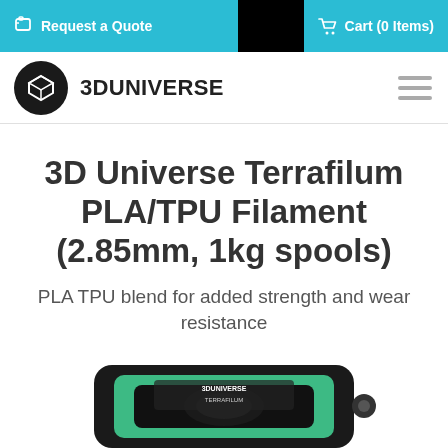Request a Quote | Cart (0 Items)
[Figure (logo): 3D Universe logo - black circle with white 3D cube icon and text '3DUNIVERSE']
3D Universe Terrafilum PLA/TPU Filament (2.85mm, 1kg spools)
PLA TPU blend for added strength and wear resistance
[Figure (photo): Product photo of 3D Universe Terrafilum filament spool, partially visible at bottom of page, showing green filament on a dark spool]